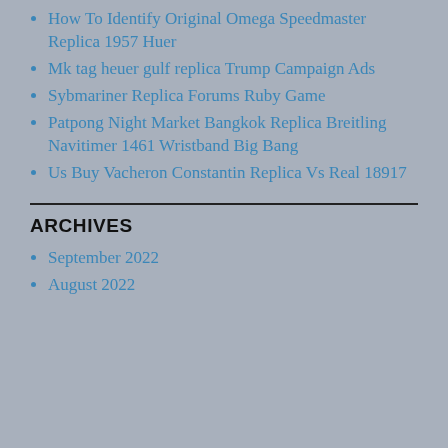How To Identify Original Omega Speedmaster Replica 1957 Huer
Mk tag heuer gulf replica Trump Campaign Ads
Sybmariner Replica Forums Ruby Game
Patpong Night Market Bangkok Replica Breitling Navitimer 1461 Wristband Big Bang
Us Buy Vacheron Constantin Replica Vs Real 18917
ARCHIVES
September 2022
August 2022